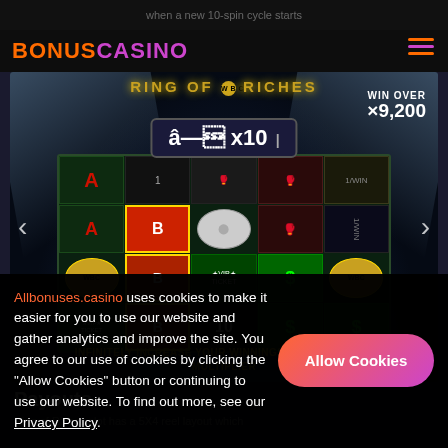when a new 10-spin cycle starts
BONUSCASINO
[Figure (screenshot): Ring of Riches casino slot game screenshot showing a 5x4 game grid with slot symbols including A letters, B balls, dollar signs, WBC coins, VIP tickets and a 10 number. Spotlight effects on sides. 'x10' multiplier badge visible. 'WIN OVER x9,200' text in top right. Yellow text at bottom reads 'INFINITELY INCREASE YOUR WINNINGS WITH AN EXTRA MULTIPLIER']
Payouts
Ring of Riches slot has a 5X4 reel layout which
Allbonuses.casino uses cookies to make it easier for you to use our website and gather analytics and improve the site. You agree to our use of cookies by clicking the "Allow Cookies" button or continuing to use our website. To find out more, see our Privacy Policy.